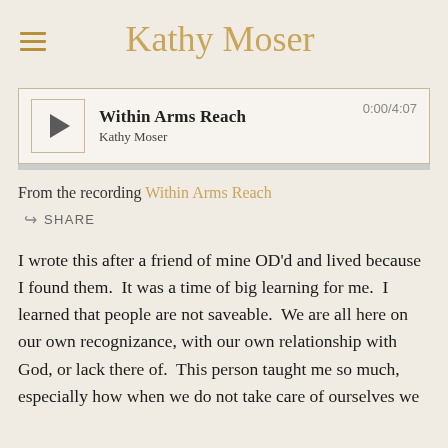Kathy Moser
[Figure (other): Audio player widget showing 'Within Arms Reach' by Kathy Moser, with play button, progress bar, and time display 0:00/4:07]
From the recording Within Arms Reach
SHARE
I wrote this after a friend of mine OD'd and lived because I found them.  It was a time of big learning for me.  I learned that people are not saveable.  We are all here on our own recognizance, with our own relationship with God, or lack there of.  This person taught me so much, especially how when we do not take care of ourselves we